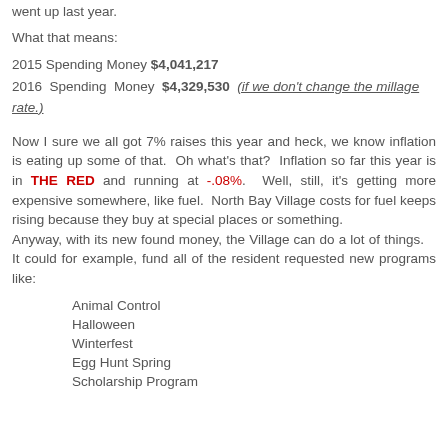went up last year.
What that means:
2015 Spending Money $4,041,217
2016 Spending Money $4,329,530 (if we don't change the millage rate.)
Now I sure we all got 7% raises this year and heck, we know inflation is eating up some of that. Oh what's that? Inflation so far this year is in THE RED and running at -.08%. Well, still, it's getting more expensive somewhere, like fuel. North Bay Village costs for fuel keeps rising because they buy at special places or something. Anyway, with its new found money, the Village can do a lot of things. It could for example, fund all of the resident requested new programs like:
Animal Control
Halloween
Winterfest
Egg Hunt Spring
Scholarship Program